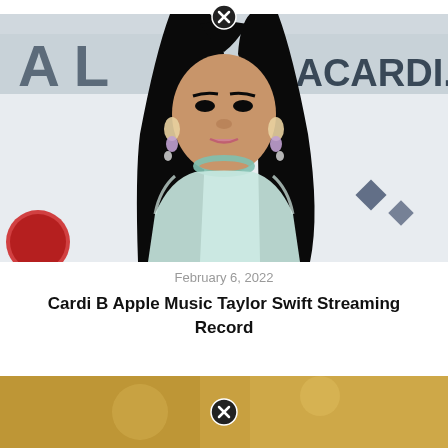[Figure (photo): Cardi B posing at an event with BACARDI branding in background, wearing light blue outfit with statement earrings and long straight black hair]
February 6, 2022
Cardi B Apple Music Taylor Swift Streaming Record
[Figure (photo): Bottom partial photo with warm golden/amber bokeh background, partially visible]